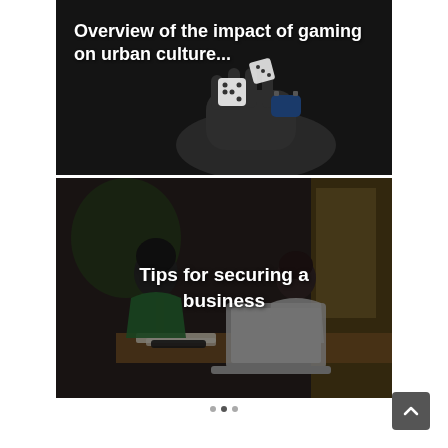[Figure (photo): Dark background with a hand holding dice and wearing a blue smart watch. Text overlay reads 'Overview of the impact of gaming on urban culture...']
Overview of the impact of gaming on urban culture...
[Figure (photo): Two people (a Black woman in a green top and a man with a beard) working together at a table with a laptop. Dark overlay. Text reads 'Tips for securing a business']
Tips for securing a business